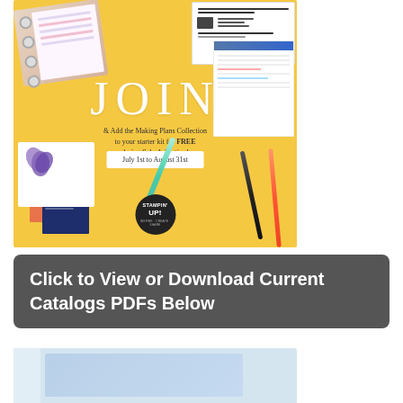[Figure (photo): Stampin' Up promotional banner on yellow background showing crafting supplies, planner items, markers, and cards. Large text reads JOIN with subtitle '& Add the Making Plans Collection to your starter kit for FREE during Sale-A-Bration!' and date 'July 1st to August 31st'. Stampin' Up logo at bottom.]
Click to View or Download Current Catalogs PDFs Below
[Figure (photo): Partial image of a catalog or planner on a light blue/white background, cropped at bottom of page.]